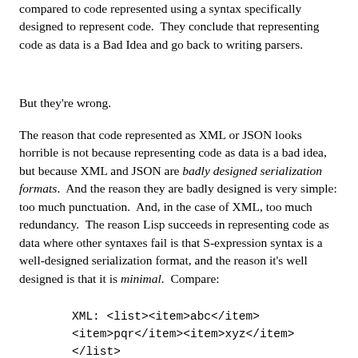compared to code represented using a syntax specifically designed to represent code.  They conclude that representing code as data is a Bad Idea and go back to writing parsers.
But they're wrong.
The reason that code represented as XML or JSON looks horrible is not because representing code as data is a bad idea, but because XML and JSON are badly designed serialization formats.  And the reason they are badly designed is very simple: too much punctuation.  And, in the case of XML, too much redundancy.  The reason Lisp succeeds in representing code as data where other syntaxes fail is that S-expression syntax is a well-designed serialization format, and the reason it's well designed is that it is minimal.  Compare:
XML: <list><item>abc</item>
<item>pqr</item><item>xyz</item>
</list>